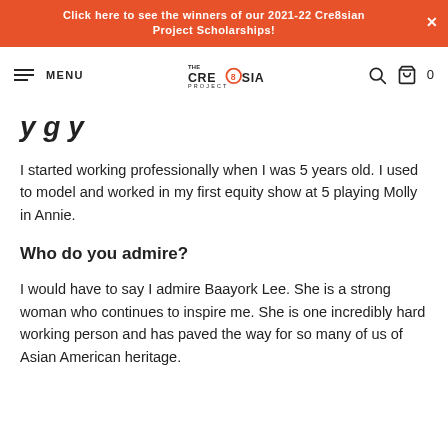Click here to see the winners of our 2021-22 Cre8sian Project Scholarships!
MENU | The Cre8sian Project logo | search icon | cart 0
y g y
I started working professionally when I was 5 years old. I used to model and worked in my first equity show at 5 playing Molly in Annie.
Who do you admire?
I would have to say I admire Baayork Lee. She is a strong woman who continues to inspire me. She is one incredibly hard working person and has paved the way for so many of us of Asian American heritage.